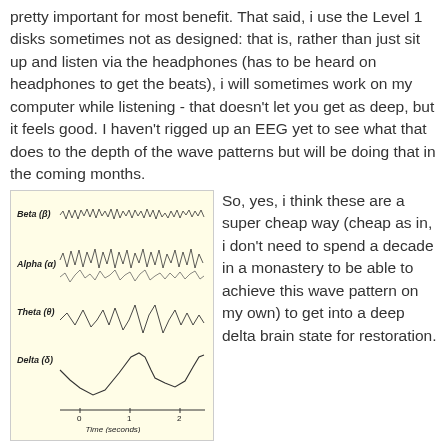pretty important for most benefit. That said, i use the Level 1 disks sometimes not as designed: that is, rather than just sit up and listen via the headphones (has to be heard on headphones to get the beats), i will sometimes work on my computer while listening - that doesn't let you get as deep, but it feels good. I haven't rigged up an EEG yet to see what that does to the depth of the wave patterns but will be doing that in the coming months.
[Figure (continuous-plot): EEG brainwave patterns diagram showing four types of brain waves on a time axis (0-2 seconds): Beta (β) - high frequency small amplitude waves, Alpha (α) - medium frequency waves, Theta (θ) - lower frequency larger amplitude waves, Delta (δ) - very low frequency large amplitude waves. X-axis labeled 'Time (seconds)'.]
So, yes, i think these are a super cheap way (cheap as in, i don't need to spend a decade in a monastery to be able to achieve this wave pattern on my own) to get into a deep delta brain state for restoration.
Now, you can generate your own beats tracks: it's simply setting two frequencies, one in each ear that is off by sufficient hz such that the low frequency is the result. The thing is, however, centerpointe